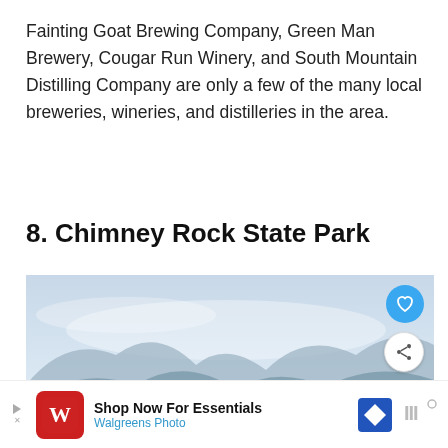Fainting Goat Brewing Company, Green Man Brewery, Cougar Run Winery, and South Mountain Distilling Company are only a few of the many local breweries, wineries, and distilleries in the area.
8. Chimney Rock State Park
[Figure (photo): Scenic overlook photo from Chimney Rock State Park showing an American flag on a rocky summit with a wide valley and river below, blue sky with haze.]